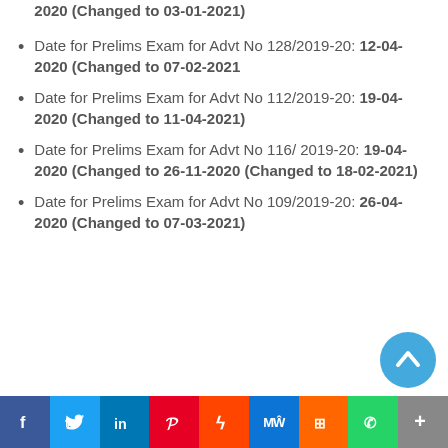2020 (Changed to 03-01-2021)
Date for Prelims Exam for Advt No 128/2019-20: 12-04-2020 (Changed to 07-02-2021)
Date for Prelims Exam for Advt No 112/2019-20: 19-04-2020 (Changed to 11-04-2021)
Date for Prelims Exam for Advt No 116/ 2019-20: 19-04-2020 (Changed to 26-11-2020 (Changed to 18-02-2021))
Date for Prelims Exam for Advt No 109/2019-20: 26-04-2020 (Changed to 07-03-2021)
Social sharing bar: Facebook, Twitter, LinkedIn, Pinterest, Reddit, MeWe, Mix, WhatsApp, More